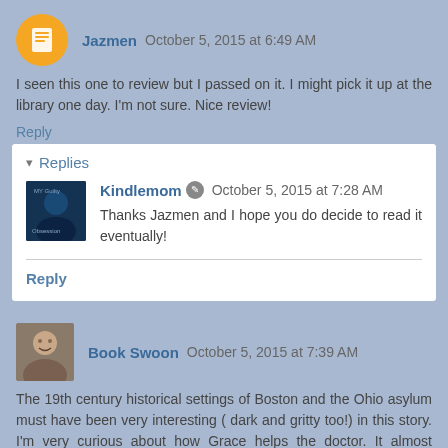Jazmen  October 5, 2015 at 6:49 AM
I seen this one to review but I passed on it. I might pick it up at the library one day. I'm not sure. Nice review!
Reply
▼ Replies
Kindlemom  October 5, 2015 at 7:28 AM
Thanks Jazmen and I hope you do decide to read it eventually!
Reply
Book Swoon  October 5, 2015 at 7:39 AM
The 19th century historical settings of Boston and the Ohio asylum must have been very interesting ( dark and gritty too!) in this story. I'm very curious about how Grace helps the doctor. It almost seems slightly supernatural. Hmmm